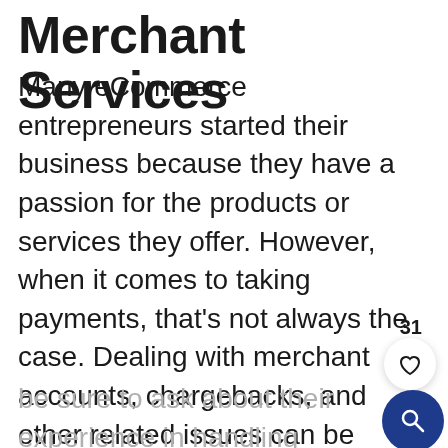Merchant Services
Many eCommerce entrepreneurs started their business because they have a passion for the products or services they offer. However, when it comes to taking payments, that's not always the case. Dealing with merchant accounts, chargebacks, and other related issues can be frustrating and time-consuming. That's why it's a good idea to outsource these services to an experienced company while you focus on growing your business. When choosing a merchant services provider, be sure to ask about their experience in handling eCommerce businesses.